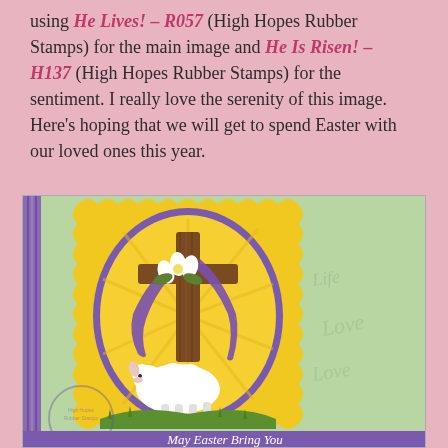using He Lives! – R057 (High Hopes Rubber Stamps) for the main image and He Is Risen! – H137 (High Hopes Rubber Stamps) for the sentiment. I really love the serenity of this image. Here's hoping that we will get to spend Easter with our loved ones this year.
[Figure (photo): A handmade Easter card featuring a cross with purple sash and white flower draped over it, with a white lamb resting at the base, set against a yellow radiant background inside a purple oval frame on a yellow scalloped mat. The card background is light green with faint script words. A purple ribbon runs along the left edge. At the bottom a text band reads 'May Easter Bring You'. A circular stamp watermark is visible at the lower left.]